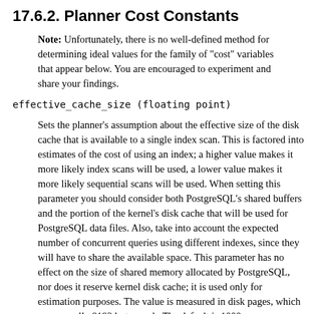17.6.2. Planner Cost Constants
Note: Unfortunately, there is no well-defined method for determining ideal values for the family of "cost" variables that appear below. You are encouraged to experiment and share your findings.
effective_cache_size (floating point)
Sets the planner's assumption about the effective size of the disk cache that is available to a single index scan. This is factored into estimates of the cost of using an index; a higher value makes it more likely index scans will be used, a lower value makes it more likely sequential scans will be used. When setting this parameter you should consider both PostgreSQL's shared buffers and the portion of the kernel's disk cache that will be used for PostgreSQL data files. Also, take into account the expected number of concurrent queries using different indexes, since they will have to share the available space. This parameter has no effect on the size of shared memory allocated by PostgreSQL, nor does it reserve kernel disk cache; it is used only for estimation purposes. The value is measured in disk pages, which are normally 8192 bytes each. The default is 1000.